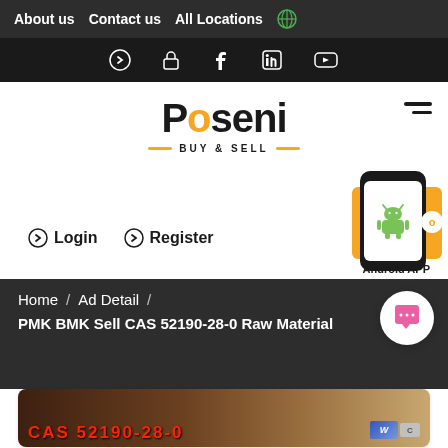About us   Contact us   All Locations
Login icons: arrow-right, lock, facebook, linkedin, youtube
[Figure (logo): Poseni Buy & Sell logo with orange dot on the O and orange dashes flanking tagline]
Login   Register
[Figure (screenshot): Android phone with green Android robot icon on orange background, showing + button and Android APP label]
Home  /  Ad Detail  /  PMK BMK Sell CAS 52190-28-0 Raw Material
[Figure (photo): Product image showing granular material with CAS 52190-28-0 text in red and a blue/silver logo in corner]